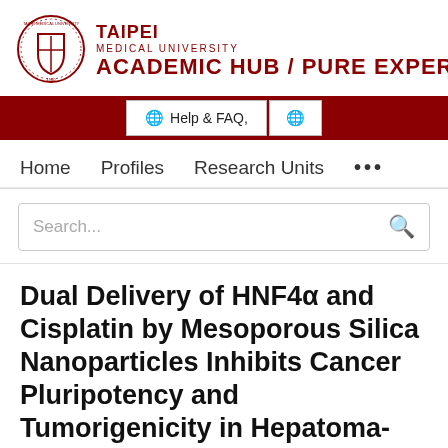TAIPEI MEDICAL UNIVERSITY ACADEMIC HUB / PURE EXPERTS
Help & FAQ,
Home   Profiles   Research Units   ...
Search...
Dual Delivery of HNF4α and Cisplatin by Mesoporous Silica Nanoparticles Inhibits Cancer Pluripotency and Tumorigenicity in Hepatoma-Derived CD133-